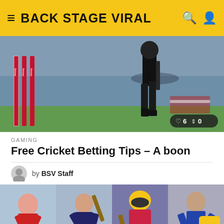BACK STAGE VIRAL
[Figure (photo): Cricket player batting/running on field, cricket stumps with Betway branding visible, blurred crowd background. Stats badge shows: 6 likes, 0 shares.]
GAMING
Free Cricket Betting Tips – A boon
by BSV Staff
[Figure (photo): Four cricket player photos side by side: a bowler celebrating, a batsman raising bat, a batsman with helmet and bat, a fast bowler in action. Scroll-to-top button overlaid at bottom right.]